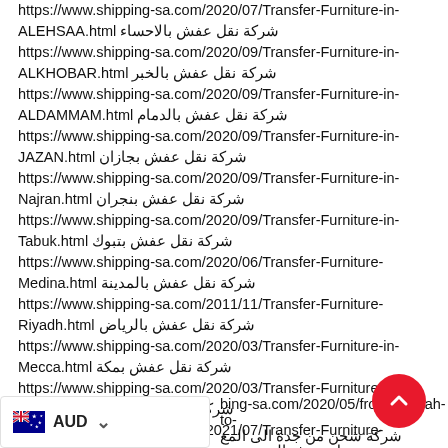https://www.shipping-sa.com/2020/07/Transfer-Furniture-in-ALEHSAA.html شركة نقل عفش بالاحساء https://www.shipping-sa.com/2020/09/Transfer-Furniture-in-ALKHOBAR.html شركة نقل عفش بالخبر https://www.shipping-sa.com/2020/09/Transfer-Furniture-in-ALDAMMAM.html شركة نقل عفش بالدمام https://www.shipping-sa.com/2020/09/Transfer-Furniture-in-JAZAN.html شركة نقل عفش بجازان https://www.shipping-sa.com/2020/09/Transfer-Furniture-in-Najran.html شركة نقل عفش بنجران https://www.shipping-sa.com/2020/09/Transfer-Furniture-in-Tabuk.html شركة نقل عفش بتبوك https://www.shipping-sa.com/2020/06/Transfer-Furniture-Medina.html شركة نقل عفش بالمدينة https://www.shipping-sa.com/2011/11/Transfer-Furniture-Riyadh.html شركة نقل عفش بالرياض https://www.shipping-sa.com/2020/03/Transfer-Furniture-in-Mecca.html شركة نقل عفش بمكة https://www.shipping-sa.com/2020/03/Transfer-Furniture-in-Taif.html شركة نقل عفش بالطائف https://www.shipping-sa.com/2021/07/Transfer-Furniture-QASSIM-BURAYDAH.html نقل عفش القصيم و بريدة https://www.shipping-sa.com/2020/05/from-Jeddah-to- شركة شحن من جدة الى المغ https://www.shipping-sa.com/2014/10/riyadh-to-lebanon.html